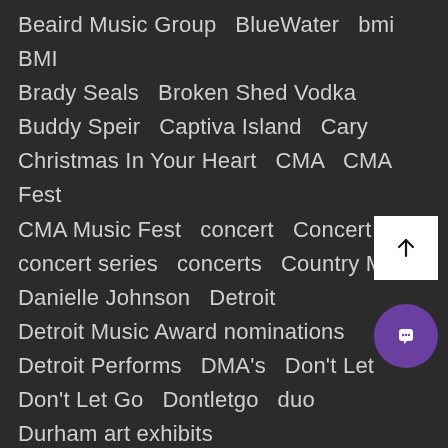Beaird Music Group   BlueWater   bmi   BMI   Brady Seals   Broken Shed Vodka   Buddy Speir   Captiva Island   Cary   Christmas In Your Heart   CMA   CMA Fest   CMA Music Fest   concert   Concert   concert series   concerts   Country Music   Danielle Johnson   Detroit   Detroit Music Award nominations   Detroit Performs   DMA's   Don't Let   Don't Let Go   Dontletgo   duo   Durham art exhibits   Durham arts and culture   Durham c…s   exhibition   Florida   ForSongSake   Fort Myers   gallery   gallery exhibitio…   Gary Hannan   gibson   Gibson Guitars   golf